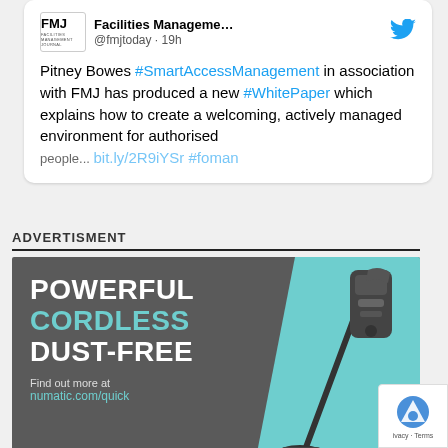[Figure (screenshot): Tweet card from @fmjtoday (Facilities Management) with FMJ logo and Twitter bird icon, showing a tweet about Pitney Bowes #SmartAccessManagement white paper in association with FMJ]
Pitney Bowes #SmartAccessManagement in association with FMJ has produced a new #WhitePaper which explains how to create a welcoming, actively managed environment for authorised people... bit.ly/2R9iYSr #foman
ADVERTISMENT
[Figure (illustration): Advertisement banner for Numatic cordless vacuum cleaner. Dark grey and teal background with text: POWERFUL CORDLESS DUST-FREE. Find out more at numatic.com/quick. Image of a stick vacuum cleaner on the right side.]